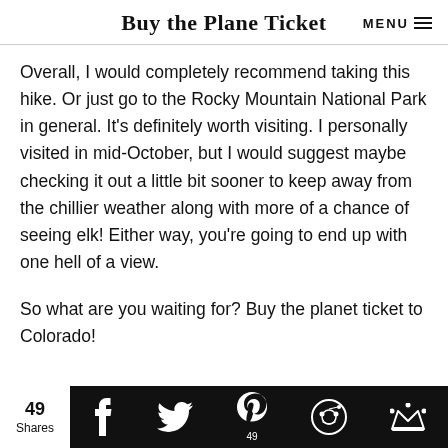Buy the Plane Ticket  MENU
Overall, I would completely recommend taking this hike. Or just go to the Rocky Mountain National Park in general. It's definitely worth visiting. I personally visited in mid-October, but I would suggest maybe checking it out a little bit sooner to keep away from the chillier weather along with more of a chance of seeing elk! Either way, you're going to end up with one hell of a view.
So what are you waiting for? Buy the planet ticket to Colorado!
49 Shares | Facebook | Twitter | Pinterest 49 | Reddit | Crown